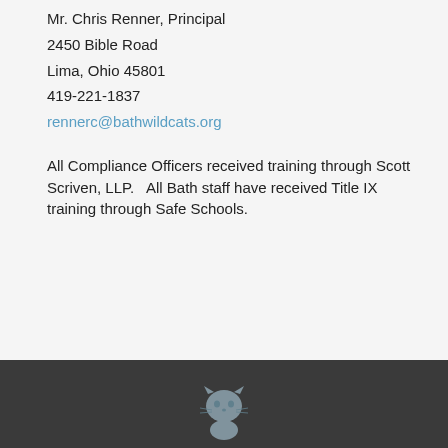Mr. Chris Renner, Principal
2450 Bible Road
Lima, Ohio 45801
419-221-1837
rennerc@bathwildcats.org
All Compliance Officers received training through Scott Scriven, LLP.   All Bath staff have received Title IX training through Safe Schools.
[Figure (illustration): Dark footer bar with a wildcat logo illustration at the bottom center of the page]